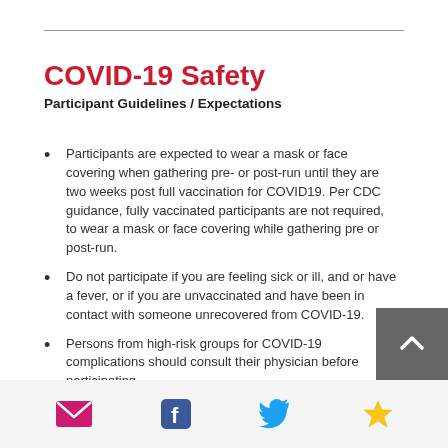COVID-19 Safety
Participant Guidelines / Expectations
Participants are expected to wear a mask or face covering when gathering pre- or post-run until they are two weeks post full vaccination for COVID19. Per CDC guidance, fully vaccinated participants are not required, to wear a mask or face covering while gathering pre or post-run.
Do not participate if you are feeling sick or ill, and or have a fever, or if you are unvaccinated and have been in contact with someone unrecovered from COVID-19.
Persons from high-risk groups for COVID-19 complications should consult their physician before participating.
Email | Facebook | Twitter | Favorites icons